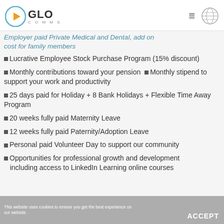GLO COMMS
Employer paid Private Medical and Dental, add on cost for family members
Lucrative Employee Stock Purchase Program (15% discount)
Monthly contributions toward your pension ▪ Monthly stipend to support your work and productivity
25 days paid for Holiday + 8 Bank Holidays + Flexible Time Away Program
20 weeks fully paid Maternity Leave
12 weeks fully paid Paternity/Adoption Leave
Personal paid Volunteer Day to support our community
Opportunities for professional growth and development including access to LinkedIn Learning online courses
This website uses cookies to ensure you get the best experience on our website. ACCEPT